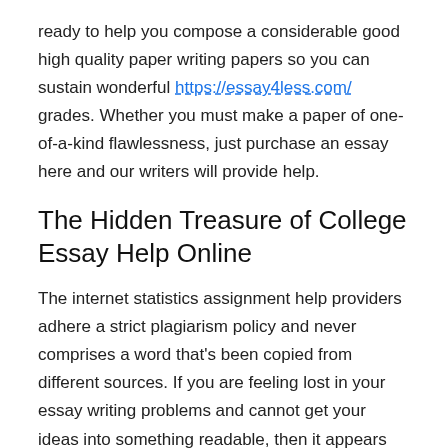ready to help you compose a considerable good high quality paper writing papers so you can sustain wonderful https://essay4less.com/ grades. Whether you must make a paper of one-of-a-kind flawlessness, just purchase an essay here and our writers will provide help.
The Hidden Treasure of College Essay Help Online
The internet statistics assignment help providers adhere a strict plagiarism policy and never comprises a word that's been copied from different sources. If you are feeling lost in your essay writing problems and cannot get your ideas into something readable, then it appears that you require a expert assistance. Whenever you have essay special abilities and knowledge, help simply have zero time to finish a job, use our expert writing service to acquire your excellent content!